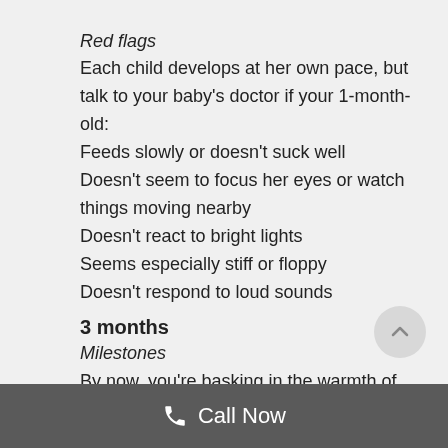Red flags
Each child develops at her own pace, but talk to your baby's doctor if your 1-month-old:
Feeds slowly or doesn't suck well
Doesn't seem to focus her eyes or watch things moving nearby
Doesn't react to bright lights
Seems especially stiff or floppy
Doesn't respond to loud sounds
3 months
Milestones
By now, you're basking in the warmth of your baby's delighted
Call Now